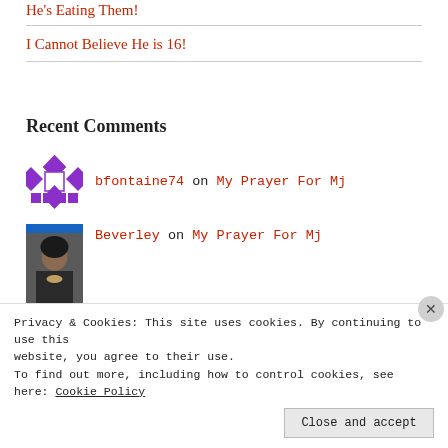He's Eating Them!
I Cannot Believe He is 16!
Recent Comments
bfontaine74 on My Prayer For Mj
Beverley on My Prayer For Mj
lbeneby on My Prayer For Mj
Privacy & Cookies: This site uses cookies. By continuing to use this website, you agree to their use. To find out more, including how to control cookies, see here: Cookie Policy
Close and accept